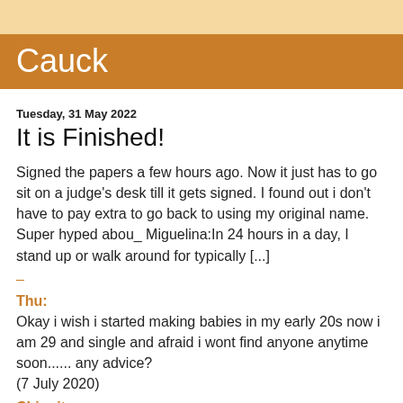Cauck
Tuesday, 31 May 2022
It is Finished!
Signed the papers a few hours ago. Now it just has to go sit on a judge's desk till it gets signed. I found out i don't have to pay extra to go back to using my original name. Super hyped abou_ Miguelina:In 24 hours in a day, I stand up or walk around for typically [...]
–
Thu:
Okay i wish i started making babies in my early 20s now i am 29 and single and afraid i wont find anyone anytime soon...... any advice?
(7 July 2020)
Chiquita: